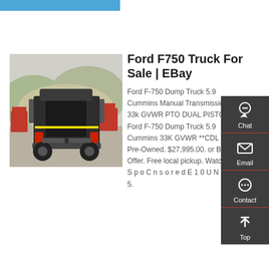[Figure (photo): Blue decorative bar at the top of the page]
[Figure (photo): Rear view of a Ford F-750 dump truck in a yard with other trucks and hills in the background]
Ford F750 Truck For Sale | EBay
Ford F-750 Dump Truck 5.9 Cummins Manual Transmission. 33k GVWR PTO DUAL PISTON. Ford F-750 Dump Truck 5.9 Cummins 33K GVWR **CDL Pre-Owned. $27,995.00. or Best Offer. Free local pickup. Watch. S p o C n s o r e d E 1 0 U N 0 Z 5.